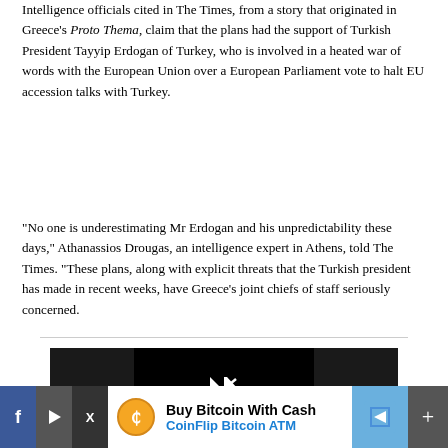been in place since a deal was struck with the EU last year.
Intelligence officials cited in The Times, from a story that originated in Greece's Proto Thema, claim that the plans had the support of Turkish President Tayyip Erdogan of Turkey, who is involved in a heated war of words with the European Union over a European Parliament vote to halt EU accession talks with Turkey.
“No one is underestimating Mr Erdogan and his unpredictability these days,” Athanassios Drougas, an intelligence expert in Athens, told The Times. “These plans, along with explicit threats that the Turkish president has made in recent weeks, have Greece’s joint chiefs of staff seriously concerned.
[Figure (screenshot): Video player with dark background and white play/forward icon in center]
[Figure (other): Advertisement bar: Buy Bitcoin With Cash - CoinFlip Bitcoin ATM, with social media buttons and navigation arrow]